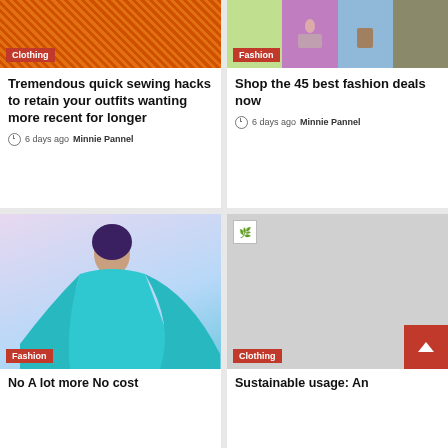[Figure (photo): Orange fabric with Clothing badge]
Tremendous quick sewing hacks to retain your outfits wanting more recent for longer
6 days ago  Minnie Pannel
[Figure (photo): Fashion collage with shoes and clothing with Fashion badge]
Shop the 45 best fashion deals now
6 days ago  Minnie Pannel
[Figure (photo): Woman in blue flowing dress with Fashion badge]
No A lot more No cost
[Figure (photo): Placeholder image with Clothing badge]
Sustainable usage: An